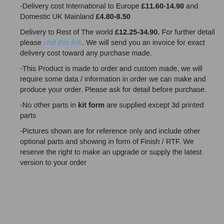-Delivery cost International to Europe £11.60-14.90 and Domestic UK Mainland £4.80-8.50
Delivery to Rest of The world £12.25-34.90. For further detail please visit this link. We will send you an invoice for exact delivery cost toward any purchase made.
-This Product is made to order and custom made, we will require some data / information in order we can make and produce your order. Please ask for detail before purchase.
-No other parts in kit form are supplied except 3d printed parts
-Pictures shown are for reference only and include other optional parts and showing in form of Finish / RTF. We reserve the right to make an upgrade or supply the latest version to your order